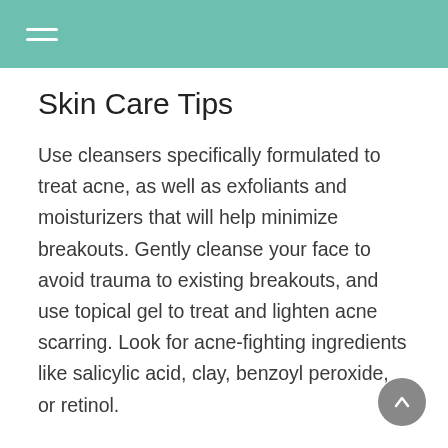Skin Care Tips
Use cleansers specifically formulated to treat acne, as well as exfoliants and moisturizers that will help minimize breakouts. Gently cleanse your face to avoid trauma to existing breakouts, and use topical gel to treat and lighten acne scarring. Look for acne-fighting ingredients like salicylic acid, clay, benzoyl peroxide, or retinol.
Sensitive Skin